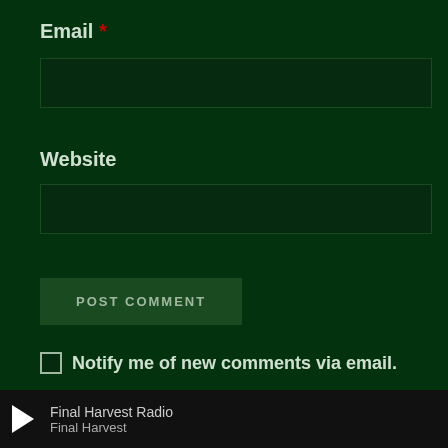Email *
Website
POST COMMENT
Notify me of new comments via email.
Notify me of new posts via email.
This site uses Akismet to reduce spam. Learn how
Final Harvest Radio / Final Harvest